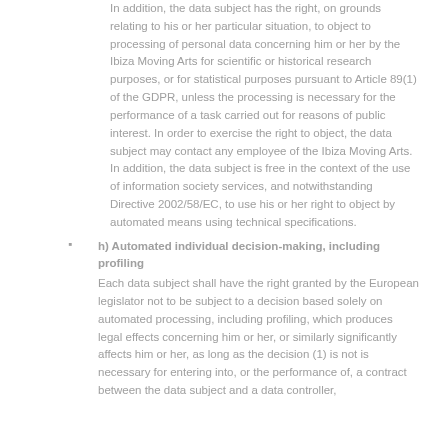In addition, the data subject has the right, on grounds relating to his or her particular situation, to object to processing of personal data concerning him or her by the Ibiza Moving Arts for scientific or historical research purposes, or for statistical purposes pursuant to Article 89(1) of the GDPR, unless the processing is necessary for the performance of a task carried out for reasons of public interest. In order to exercise the right to object, the data subject may contact any employee of the Ibiza Moving Arts. In addition, the data subject is free in the context of the use of information society services, and notwithstanding Directive 2002/58/EC, to use his or her right to object by automated means using technical specifications.
h) Automated individual decision-making, including profiling
Each data subject shall have the right granted by the European legislator not to be subject to a decision based solely on automated processing, including profiling, which produces legal effects concerning him or her, or similarly significantly affects him or her, as long as the decision (1) is not is necessary for entering into, or the performance of, a contract between the data subject and a data controller,